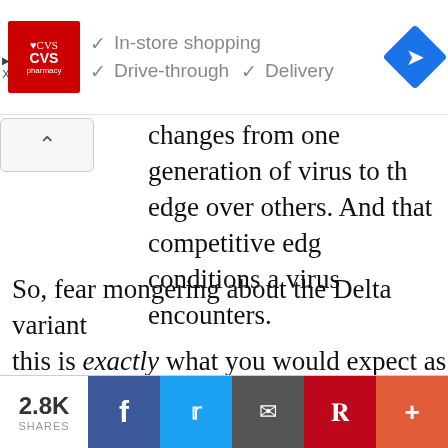[Figure (screenshot): CVS Pharmacy advertisement banner showing logo and service options: In-store shopping, Drive-through, Delivery, and a navigation icon]
changes from one generation of virus to the next give some variants a competitive edge over others. And that competitive edge depends upon the conditions a virus encounters.
So, fear mongering about the Delta variant is misplaced; this is exactly what you would expect as a norm. You would expect new variants to be more contagious, just like the other 200+ respiratory viruses we know of.
That's also why the decision to lock down the world, with border closures, and social distancing rules
[Figure (screenshot): Social sharing bar showing 2.8K shares with Facebook, Twitter, Email, Pinterest, and plus buttons]